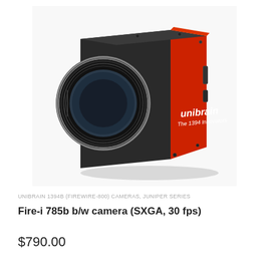[Figure (photo): Unibrain Fire-i 785b industrial camera with red and black body, large lens mount on the left side, 'unibrain The 1394 Innovators' text on red panel]
UNIBRAIN 1394B (FIREWIRE-800) CAMERAS, JUNIPER SERIES
Fire-i 785b b/w camera (SXGA, 30 fps)
$790.00